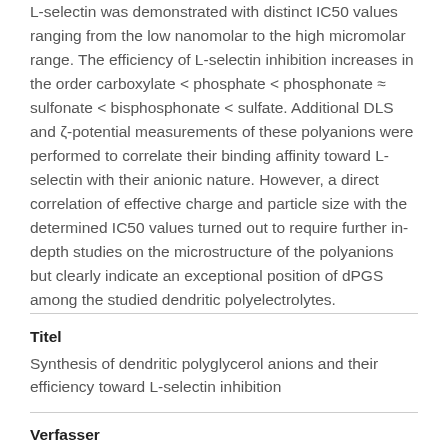L-selectin was demonstrated with distinct IC50 values ranging from the low nanomolar to the high micromolar range. The efficiency of L-selectin inhibition increases in the order carboxylate < phosphate < phosphonate ≈ sulfonate < bisphosphonate < sulfate. Additional DLS and ζ-potential measurements of these polyanions were performed to correlate their binding affinity toward L-selectin with their anionic nature. However, a direct correlation of effective charge and particle size with the determined IC50 values turned out to require further in-depth studies on the microstructure of the polyanions but clearly indicate an exceptional position of dPGS among the studied dendritic polyelectrolytes.
Titel
Synthesis of dendritic polyglycerol anions and their efficiency toward L-selectin inhibition
Verfasser